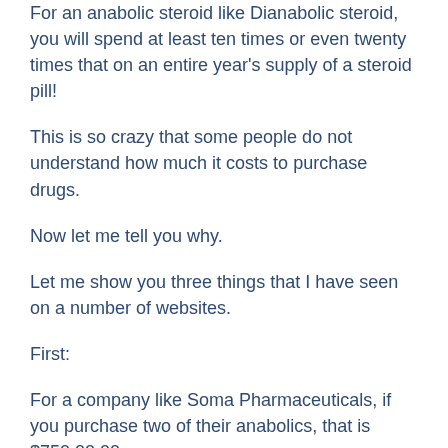For an anabolic steroid like Dianabolic steroid, you will spend at least ten times or even twenty times that on an entire year's supply of a steroid pill!
This is so crazy that some people do not understand how much it costs to purchase drugs.
Now let me tell you why.
Let me show you three things that I have seen on a number of websites.
First:
For a company like Soma Pharmaceuticals, if you purchase two of their anabolics, that is $750.00.00.
For an entire year's supply, that goes up to $15,000.00.00!